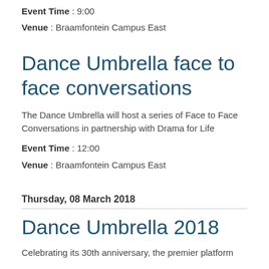Event Time : 9:00
Venue : Braamfontein Campus East
Dance Umbrella face to face conversations
The Dance Umbrella will host a series of Face to Face Conversations in partnership with Drama for Life
Event Time : 12:00
Venue : Braamfontein Campus East
Thursday, 08 March 2018
Dance Umbrella 2018
Celebrating its 30th anniversary, the premier platform